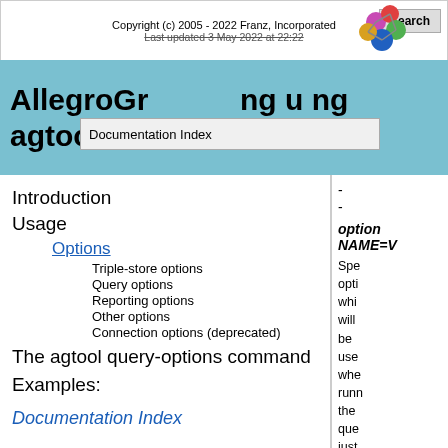Copyright (c) 2005 - 2022 Franz, Incorporated
Last updated 3 May 2022 at 22:22
AllegroGraph using agtool
Introduction
Usage
Options
Triple-store options
Query options
Reporting options
Other options
Connection options (deprecated)
The agtool query-options command
Examples:
Documentation Index
- -
option NAME=V
Specifies an option which will be used when running the query, just like normal SPA...